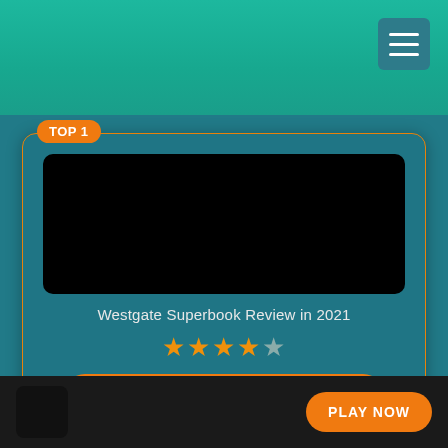[Figure (screenshot): Mobile website screenshot showing a casino review page with teal/green background and hamburger menu icon in the top right]
Westgate Superbook Review in 2021
[Figure (other): 4 out of 5 star rating shown with orange filled stars and one grey empty star]
VISIT CASINO
Review
PLAY NOW